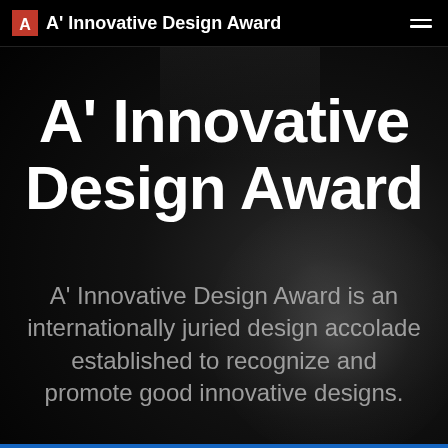A' Innovative Design Award
A' Innovative Design Award
A' Innovative Design Award is an internationally juried design accolade established to recognize and promote good innovative designs.